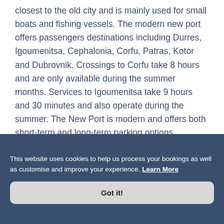closest to the old city and is mainly used for small boats and fishing vessels. The modern new port offers passengers destinations including Durres, Igoumenitsa, Cephalonia, Corfu, Patras, Kotor and Dubrovnik. Crossings to Corfu take 8 hours and are only available during the summer months. Services to Igoumenitsa take 9 hours and 30 minutes and also operate during the summer. The New Port is modern and offers both short-term and long-term parking options.
...
This website uses cookies to help us process your bookings as well as customise and improve your experience. Learn More
Got it!